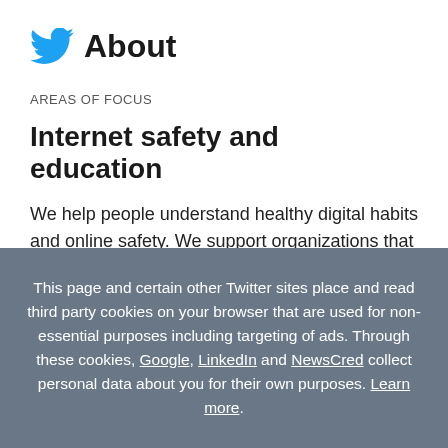About
AREAS OF FOCUS
Internet safety and education
We help people understand healthy digital habits and online safety. We support organizations that tackle issues like bullying, abuse, and hate speech. We
This page and certain other Twitter sites place and read third party cookies on your browser that are used for non-essential purposes including targeting of ads. Through these cookies, Google, LinkedIn and NewsCred collect personal data about you for their own purposes. Learn more.